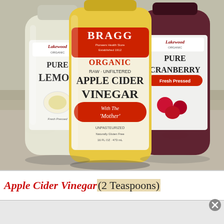[Figure (photo): Three bottles on a granite countertop: Lakewood Organic Pure Lemon juice (left), Bragg Organic Raw Unfiltered Apple Cider Vinegar With The Mother (center, prominently displayed), and Lakewood Organic Pure Cranberry juice (right).]
Apple Cider Vinegar (2 Teaspoons)